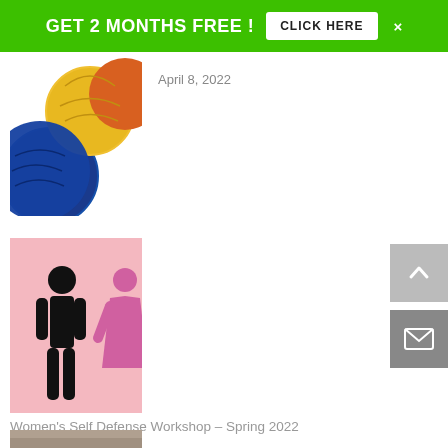[Figure (other): Green promotional banner: GET 2 MONTHS FREE! with CLICK HERE button and close X]
[Figure (photo): Colorful yarn balls — blue, yellow, orange close-up photo]
April 8, 2022
[Figure (illustration): Pink background with black male pictogram and partial pink female pictogram (self defense icons)]
Women's Self Defense Workshop – Spring 2022
March 29, 2022